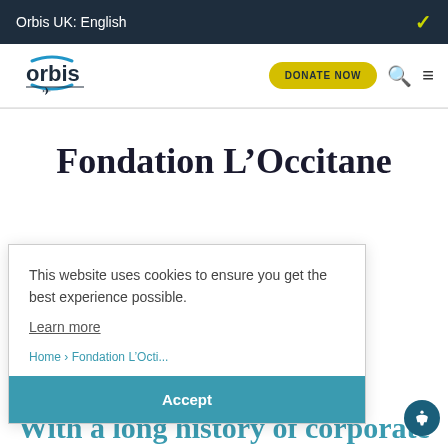Orbis UK: English
[Figure (logo): Orbis logo with airplane icon and blue arc]
DONATE NOW
Fondation L’Occitane
This website uses cookies to ensure you get the best experience possible.
Learn more
Accept
Home > Fondation L’Occitane
With a long history of corporate